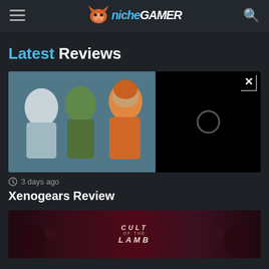Niche Gamer
Latest Reviews
[Figure (screenshot): Xenogears anime-style artwork showing multiple characters from the game, with a video player overlay popup on the right side with an X close button and loading spinner]
3 days ago
Xenogears Review
[Figure (screenshot): Cult of the Lamb game banner with dark red/pink artwork and stylized title text]